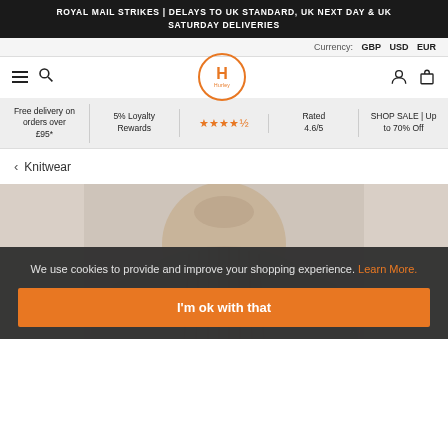ROYAL MAIL STRIKES | DELAYS TO UK STANDARD, UK NEXT DAY & UK SATURDAY DELIVERIES
Currency: GBP USD EUR
[Figure (logo): Hurley brand logo — orange circle with H and Hurley text]
Free delivery on orders over £95* | 5% Loyalty Rewards | Rated 4.6/5 | SHOP SALE | Up to 70% Off
< Knitwear
[Figure (photo): Beige/taupe ribbed knitwear sweater, upper torso view on plain background]
We use cookies to provide and improve your shopping experience. Learn More.
I'm ok with that